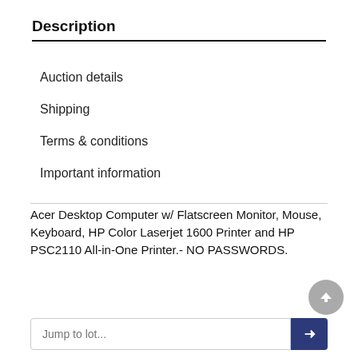Description
Auction details
Shipping
Terms & conditions
Important information
Acer Desktop Computer w/ Flatscreen Monitor, Mouse, Keyboard, HP Color Laserjet 1600 Printer and HP PSC2110 All-in-One Printer.- NO PASSWORDS.
❮ Prev lot: 458   Next lot: 460 ❯
Jump to lot...